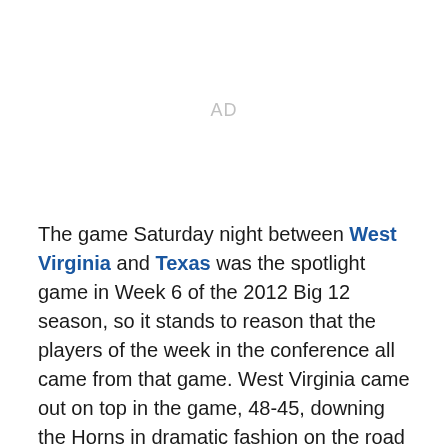[Figure (other): AD placeholder area]
The game Saturday night between West Virginia and Texas was the spotlight game in Week 6 of the 2012 Big 12 season, so it stands to reason that the players of the week in the conference all came from that game. West Virginia came out on top in the game, 48-45, downing the Horns in dramatic fashion on the road in Austin and climbed as high as No. 3 in the nation's top 25.